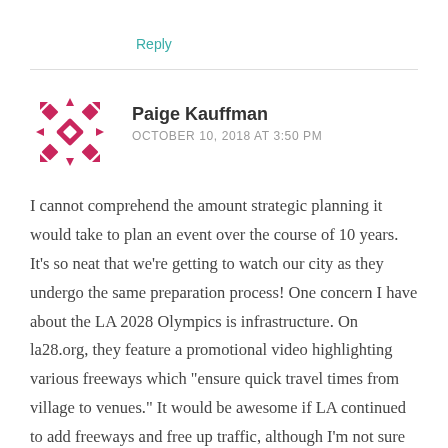Reply
[Figure (illustration): Geometric decorative avatar icon made of pink/crimson diamond and arrow shapes arranged in a cross/flower pattern]
Paige Kauffman
OCTOBER 10, 2018 AT 3:50 PM
I cannot comprehend the amount strategic planning it would take to plan an event over the course of 10 years. It's so neat that we're getting to watch our city as they undergo the same preparation process! One concern I have about the LA 2028 Olympics is infrastructure. On la28.org, they feature a promotional video highlighting various freeways which "ensure quick travel times from village to venues." It would be awesome if LA continued to add freeways and free up traffic, although I'm not sure what that would take